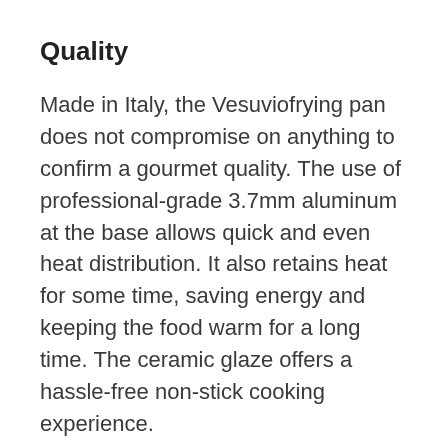Quality
Made in Italy, the Vesuviofrying pan does not compromise on anything to confirm a gourmet quality. The use of professional-grade 3.7mm aluminum at the base allows quick and even heat distribution. It also retains heat for some time, saving energy and keeping the food warm for a long time. The ceramic glaze offers a hassle-free non-stick cooking experience.
Have the peace of mind with the one-year warranty period. You can get the money back if you find any defect within this